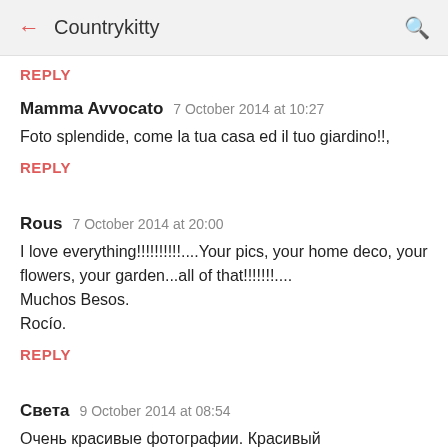Countrykitty
REPLY
Mamma Avvocato  7 October 2014 at 10:27
Foto splendide, come la tua casa ed il tuo giardino!!,
REPLY
Rous  7 October 2014 at 20:00
I love everything!!!!!!!!!!....Your pics, your home deco, your flowers, your garden...all of that!!!!!!!....
Muchos Besos.
Rocío.
REPLY
Света  9 October 2014 at 08:54
Очень красивые фотографии. Красивый